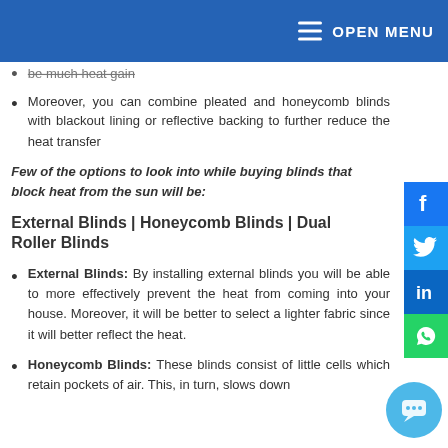OPEN MENU
be much heat gain
Moreover, you can combine pleated and honeycomb blinds with blackout lining or reflective backing to further reduce the heat transfer
Few of the options to look into while buying blinds that block heat from the sun will be:
External Blinds | Honeycomb Blinds | Dual Roller Blinds
External Blinds: By installing external blinds you will be able to more effectively prevent the heat from coming into your house. Moreover, it will be better to select a lighter fabric since it will better reflect the heat.
Honeycomb Blinds: These blinds consist of little cells which retain pockets of air. This, in turn, slows down